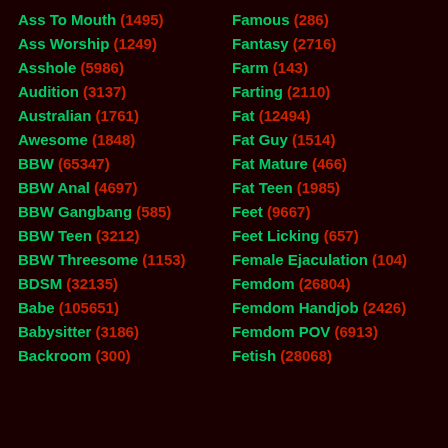Ass To Mouth (1495)
Famous (286)
Ass Worship (1249)
Fantasy (2716)
Asshole (5986)
Farm (143)
Audition (3137)
Farting (2110)
Australian (1761)
Fat (12494)
Awesome (1848)
Fat Guy (1514)
BBW (65347)
Fat Mature (466)
BBW Anal (4697)
Fat Teen (1985)
BBW Gangbang (585)
Feet (9667)
BBW Teen (3212)
Feet Licking (657)
BBW Threesome (1153)
Female Ejaculation (104)
BDSM (32135)
Femdom (26804)
Babe (105651)
Femdom Handjob (2426)
Babysitter (3186)
Femdom POV (6913)
Backroom (300)
Fetish (28068)